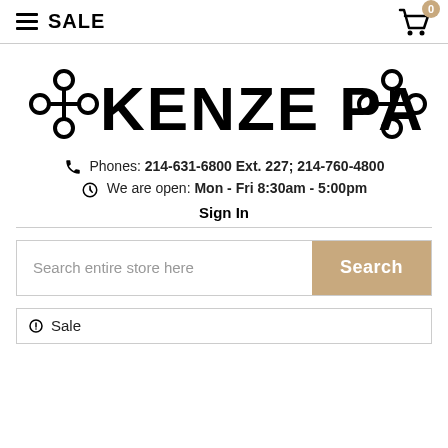≡ SALE
[Figure (logo): Kenze Panne store logo with decorative knot symbols on both sides of the text KENZE PANNE]
Phones: 214-631-6800 Ext. 227; 214-760-4800
We are open: Mon - Fri 8:30am - 5:00pm
Sign In
Search entire store here
Sale